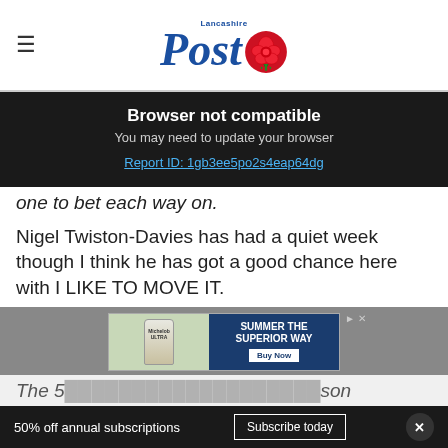Lancashire Post
Browser not compatible
You may need to update your browser
Report ID: 1gb3ee5po2s4eap64dg
one to bet each way on.
Nigel Twiston-Davies has had a quiet week though I think he has got a good chance here with I LIKE TO MOVE IT.
[Figure (other): Advertisement banner: SUMMER THE SUPERIOR WAY with Buy Now button, showing beer and burger imagery]
The 5...son
50% off annual subscriptions  Subscribe today